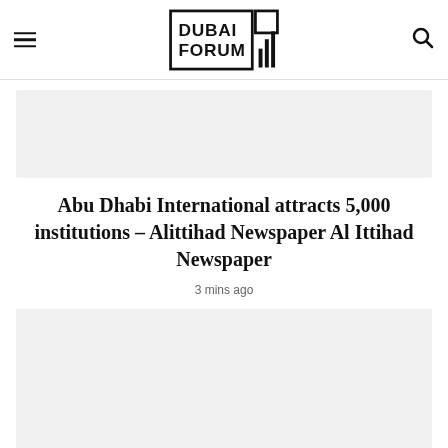DUBAI FORUM
[Figure (other): Top advertisement banner placeholder (light gray rectangle)]
Abu Dhabi International attracts 5,000 institutions – Alittihad Newspaper Al Ittihad Newspaper
3 mins ago
[Figure (photo): Large image placeholder below the article title (light gray rectangle)]